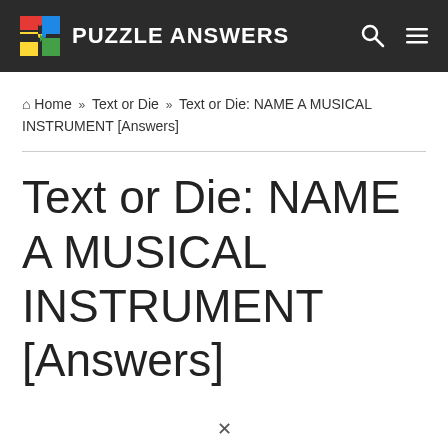PUZZLE ANSWERS
Home » Text or Die » Text or Die: NAME A MUSICAL INSTRUMENT [Answers]
Text or Die: NAME A MUSICAL INSTRUMENT [Answers]